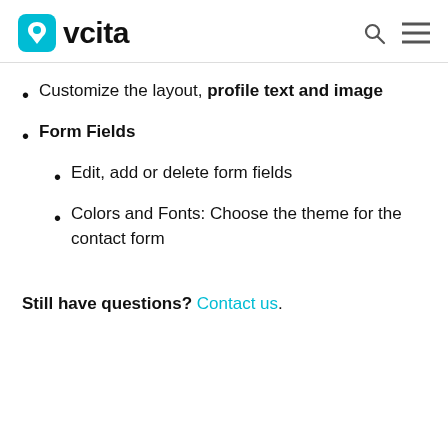vcita
Customize the layout, profile text and image
Form Fields
Edit, add or delete form fields
Colors and Fonts: Choose the theme for the contact form
Still have questions? Contact us.